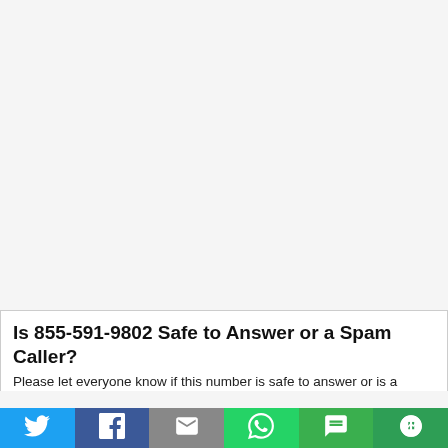Is 855-591-9802 Safe to Answer or a Spam Caller?
Please let everyone know if this number is safe to answer or is a
[Figure (infographic): Social sharing bar with icons for Twitter, Facebook, Email, WhatsApp, SMS, and Copy Link]